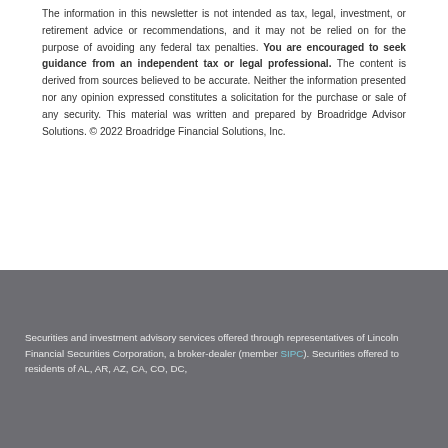The information in this newsletter is not intended as tax, legal, investment, or retirement advice or recommendations, and it may not be relied on for the purpose of avoiding any federal tax penalties. You are encouraged to seek guidance from an independent tax or legal professional. The content is derived from sources believed to be accurate. Neither the information presented nor any opinion expressed constitutes a solicitation for the purchase or sale of any security. This material was written and prepared by Broadridge Advisor Solutions. © 2022 Broadridge Financial Solutions, Inc.
Securities and investment advisory services offered through representatives of Lincoln Financial Securities Corporation, a broker-dealer (member SIPC). Securities offered to residents of AL, AR, AZ, CA, CO, DC,